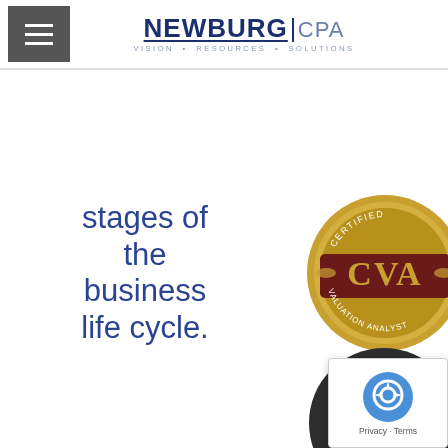NEWBURG|CPA VISION • RESOURCES • SOLUTIONS
stages of the business life cycle.
[Figure (logo): CVA (Certified Valuation Analyst) gold medallion badge with laurel wreath]
[Figure (logo): Intuit QuickBooks ProAdvisor Program Elite badge, dark circular badge with green accent]
[Figure (other): Google reCAPTCHA widget with Privacy and Terms links]